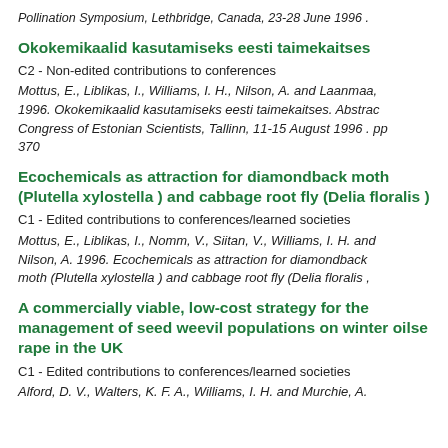Pollination Symposium, Lethbridge, Canada, 23-28 June 1996 .
Okokemikaalid kasutamiseks eesti taimekaitses
C2 - Non-edited contributions to conferences
Mottus, E., Liblikas, I., Williams, I. H., Nilson, A. and Laanmaa, 1996. Okokemikaalid kasutamiseks eesti taimekaitses. Abstrac Congress of Estonian Scientists, Tallinn, 11-15 August 1996 . pp 370
Ecochemicals as attraction for diamondback moth (Plutella xylostella ) and cabbage root fly (Delia floralis )
C1 - Edited contributions to conferences/learned societies
Mottus, E., Liblikas, I., Nomm, V., Siitan, V., Williams, I. H. and Nilson, A. 1996. Ecochemicals as attraction for diamondback moth (Plutella xylostella ) and cabbage root fly (Delia floralis ,
A commercially viable, low-cost strategy for the management of seed weevil populations on winter oilse rape in the UK
C1 - Edited contributions to conferences/learned societies
Alford, D. V., Walters, K. F. A., Williams, I. H. and Murchie, A.